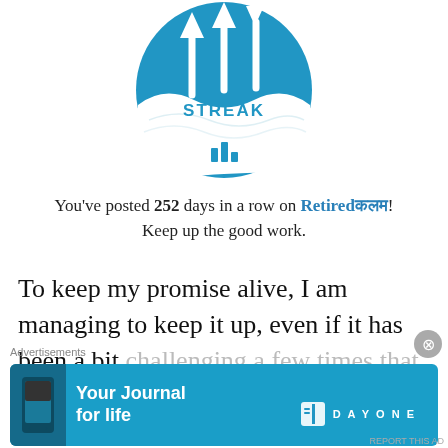[Figure (illustration): Streak badge: blue circle with three white upward arrows and the word STREAK in blue text, with a white wave/chart graphic at the bottom]
You've posted 252 days in a row on Retiredकलम! Keep up the good work.
To keep my promise alive, I am managing to keep it up, even if it has been a bit challenging a few times that break the chain
Advertisements
[Figure (screenshot): DayOne app advertisement banner: blue background with phone image, text 'Your Journal for life', and DAYONE logo]